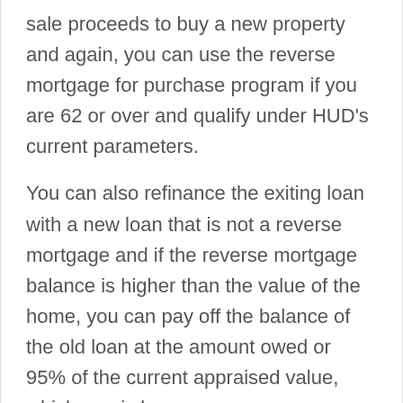sale proceeds to buy a new property and again, you can use the reverse mortgage for purchase program if you are 62 or over and qualify under HUD's current parameters.
You can also refinance the exiting loan with a new loan that is not a reverse mortgage and if the reverse mortgage balance is higher than the value of the home, you can pay off the balance of the old loan at the amount owed or 95% of the current appraised value, whichever is less.
I know those may not seem like the greatest of options at this time but the